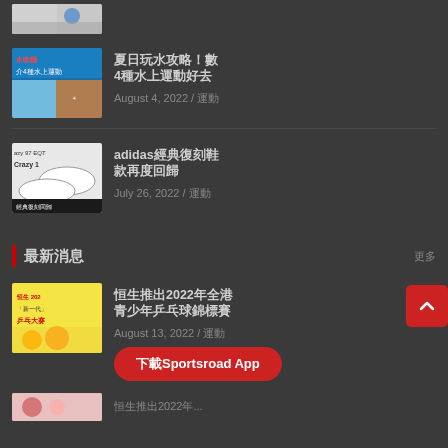[Figure (photo): Partial thumbnail image at top, showing a person with a blue device]
[Figure (photo): Thumbnail: Blue banner with Chinese text about 4 water sports]
夏日玩水攻略！數4種水上運動好去處
August 4, 2022 / 運動
[Figure (photo): Thumbnail: adidas Crazy 97 EQT and Crazy 1 sneakers with Chinese text 經典復刻回歸]
adidas經典復刻鞋款再度回歸
July 26, 2022 / 運動
最新消息
[Figure (photo): Thumbnail: Hang Seng 2022 youth sports promotional image with children playing table tennis]
恒生推出2022年全港青少年乒乓球錦標賽
August 13, 2022 / 運動
下載Sportsroad App
[Figure (photo): Partial thumbnail at bottom]